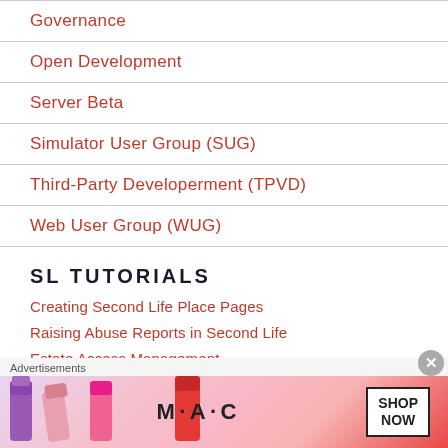Governance
Open Development
Server Beta
Simulator User Group (SUG)
Third-Party Developerment (TPVD)
Web User Group (WUG)
SL TUTORIALS
Creating Second Life Place Pages
Raising Abuse Reports in Second Life
Estate Access Management
Group Bans
[Figure (illustration): Advertisement banner for MAC cosmetics showing lipsticks and a SHOP NOW button]